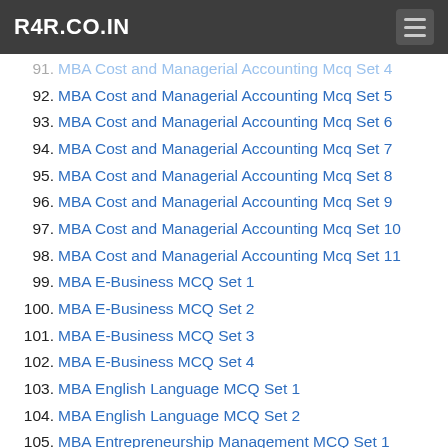R4R.CO.IN
91. MBA Cost and Managerial Accounting Mcq Set 4
92. MBA Cost and Managerial Accounting Mcq Set 5
93. MBA Cost and Managerial Accounting Mcq Set 6
94. MBA Cost and Managerial Accounting Mcq Set 7
95. MBA Cost and Managerial Accounting Mcq Set 8
96. MBA Cost and Managerial Accounting Mcq Set 9
97. MBA Cost and Managerial Accounting Mcq Set 10
98. MBA Cost and Managerial Accounting Mcq Set 11
99. MBA E-Business MCQ Set 1
100. MBA E-Business MCQ Set 2
101. MBA E-Business MCQ Set 3
102. MBA E-Business MCQ Set 4
103. MBA English Language MCQ Set 1
104. MBA English Language MCQ Set 2
105. MBA Entrepreneurship Management MCQ Set 1
106. MBA Entrepreneurship Management MCQ Set 2
107. MBA Entrepreneurship Management MCQ Set 3